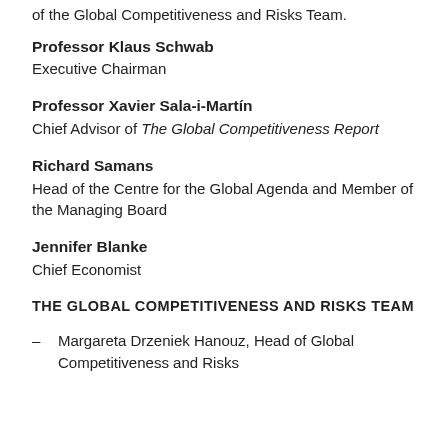of the Global Competitiveness and Risks Team.
Professor Klaus Schwab
Executive Chairman
Professor Xavier Sala-i-Martín
Chief Advisor of The Global Competitiveness Report
Richard Samans
Head of the Centre for the Global Agenda and Member of the Managing Board
Jennifer Blanke
Chief Economist
THE GLOBAL COMPETITIVENESS AND RISKS TEAM
Margareta Drzeniek Hanouz, Head of Global Competitiveness and Risks